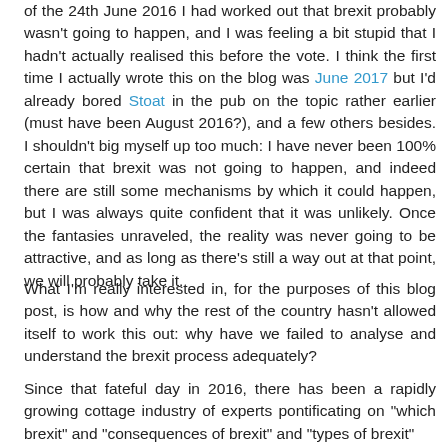of the 24th June 2016 I had worked out that brexit probably wasn't going to happen, and I was feeling a bit stupid that I hadn't actually realised this before the vote. I think the first time I actually wrote this on the blog was June 2017 but I'd already bored Stoat in the pub on the topic rather earlier (must have been August 2016?), and a few others besides. I shouldn't big myself up too much: I have never been 100% certain that brexit was not going to happen, and indeed there are still some mechanisms by which it could happen, but I was always quite confident that it was unlikely. Once the fantasies unraveled, the reality was never going to be attractive, and as long as there's still a way out at that point, we will probably take it.
What I'm really interested in, for the purposes of this blog post, is how and why the rest of the country hasn't allowed itself to work this out: why have we failed to analyse and understand the brexit process adequately?
Since that fateful day in 2016, there has been a rapidly growing cottage industry of experts pontificating on "which brexit" and "consequences of brexit" and "types of brexit" and all sorts of things. I needn't say how worthless...